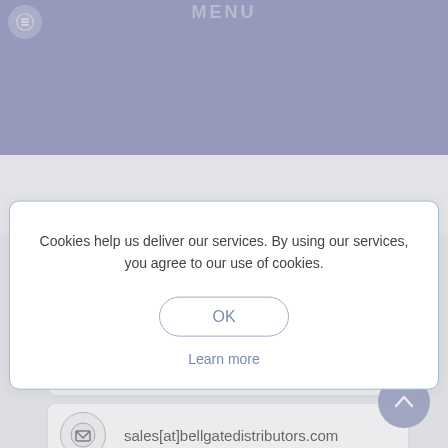MENU
can support your customers so they will keep coming back to your store?
Since 1994 Bellgate Distributors has helped numerous shops just like yours
Cookies help us deliver our services. By using our services, you agree to our use of cookies.
OK
Learn more
425-208-2655
sales[at]bellgatedistributors.com